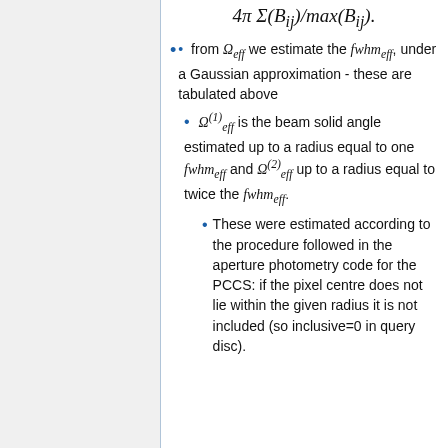from Ω_eff we estimate the fwhm_eff, under a Gaussian approximation - these are tabulated above
Ω^(1)_eff is the beam solid angle estimated up to a radius equal to one fwhm_eff and Ω^(2)_eff up to a radius equal to twice the fwhm_eff.
These were estimated according to the procedure followed in the aperture photometry code for the PCCS: if the pixel centre does not lie within the given radius it is not included (so inclusive=0 in query disc).